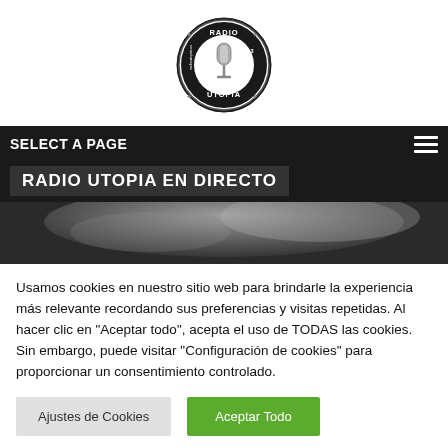[Figure (logo): Radio Utopia 107.3 FM circular logo with microphone in center]
SELECT A PAGE
RADIO UTOPIA EN DIRECTO
[Figure (photo): Black and white close-up photo, partially visible]
Usamos cookies en nuestro sitio web para brindarle la experiencia más relevante recordando sus preferencias y visitas repetidas. Al hacer clic en "Aceptar todo", acepta el uso de TODAS las cookies. Sin embargo, puede visitar "Configuración de cookies" para proporcionar un consentimiento controlado.
Ajustes de Cookies
Aceptar Todo